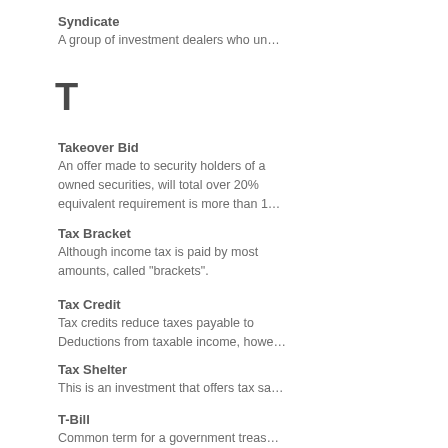Syndicate
A group of investment dealers who un…
T
Takeover Bid
An offer made to security holders of a… owned securities, will total over 20%… equivalent requirement is more than 1…
Tax Bracket
Although income tax is paid by most… amounts, called "brackets".
Tax Credit
Tax credits reduce taxes payable to… Deductions from taxable income, howe…
Tax Shelter
This is an investment that offers tax sa…
T-Bill
Common term for a government treas…
Technical Analysis